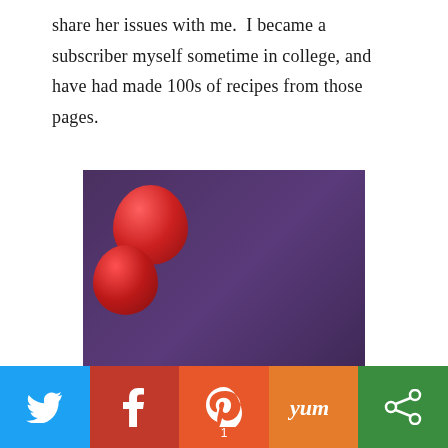share her issues with me.  I became a subscriber myself sometime in college, and have had made 100s of recipes from those pages.
[Figure (photo): A rustic plum or apple galette (free-form tart) with sliced red fruit arranged in the center and a folded golden-brown crust, sitting on a glass pie plate, with whole red apples visible in the background against a purple cloth backdrop.]
Twitter | Facebook | Pinterest 1 | Yummly | Other